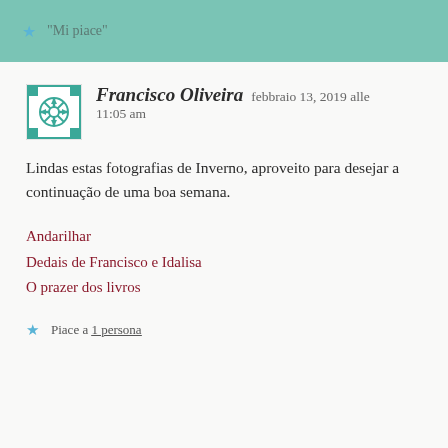★ "Mi piace"
Francisco Oliveira   febbraio 13, 2019 alle 11:05 am
Lindas estas fotografias de Inverno, aproveito para desejar a continuação de uma boa semana.
Andarilhar
Dedais de Francisco e Idalisa
O prazer dos livros
★ Piace a 1 persona